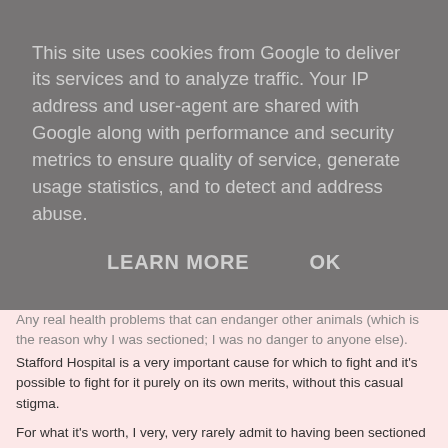This site uses cookies from Google to deliver its services and to analyze traffic. Your IP address and user-agent are shared with Google along with performance and security metrics to ensure quality of service, generate usage statistics, and to detect and address abuse.
LEARN MORE    OK
Any real health problems that can endanger other animals (which is the reason why I was sectioned; I was no danger to anyone else).
Stafford Hospital is a very important cause for which to fight and it's possible to fight for it purely on its own merits, without this casual stigma.
For what it's worth, I very, very rarely admit to having been sectioned in public because of the misinformation, perpetuated in signs such as this, that somehow it means you have been "utter madmen" or dangerous.
It's not about political correctness or clearcut issues of offence vs. tolerance. To me, it is about taking an experience that is one of the most deeply distressing thing that can happen to people, including patients at Stafford Hospital, and turning it into a joke."
But even though it made me feel vulnerable and criticised, I'm not sorry that I joined in the discussion. I am pretty open about my mental health. Most people who know me know about my anorexia and know that I've been hospitalised for it. But I only rarely talk about New Year's Eve 2010: the day I was sectioned. And this sign